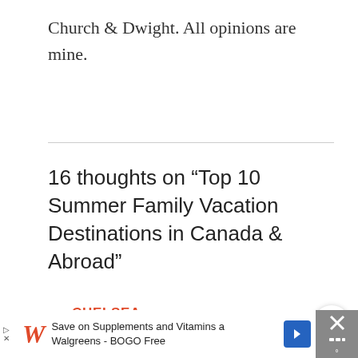Church & Dwight. All opinions are mine.
16 thoughts on “Top 10 Summer Family Vacation Destinations in Canada & Abroad”
CHELSEA
AUGUST 22, 2016 AT 8:11 AM
[Figure (other): Share button icon — circular button with share symbol]
[Figure (other): Advertisement banner: Save on Supplements and Vitamins at Walgreens - BOGO Free, with Walgreens logo and navigation arrow. Black bar with close X on right.]